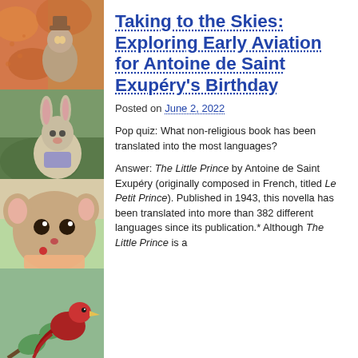[Figure (illustration): Left vertical strip with four illustrated animal panels: top panel shows a mouse/rabbit character in orange-brown tones, second panel shows a rabbit/donkey on green background, third panel shows a mouse/rabbit face close-up on light background, fourth panel shows a red bird on green background]
Taking to the Skies: Exploring Early Aviation for Antoine de Saint Exupéry's Birthday
Posted on June 2, 2022
Pop quiz: What non-religious book has been translated into the most languages?
Answer: The Little Prince by Antoine de Saint Exupéry (originally composed in French, titled Le Petit Prince). Published in 1943, this novella has been translated into more than 382 different languages since its publication.* Although The Little Prince is a